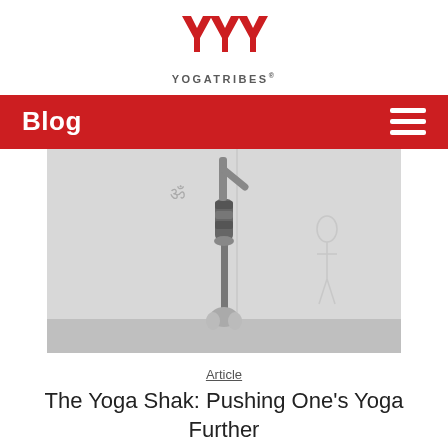[Figure (logo): YogaTribes logo: three red Y letters arranged in a row above the text YOGATRIBES with a registered trademark symbol]
Blog
[Figure (photo): Black and white photograph of a person performing a one-handed yoga handstand in a yoga studio, with an Om symbol on the wall]
Article
The Yoga Shak: Pushing One's Yoga Further